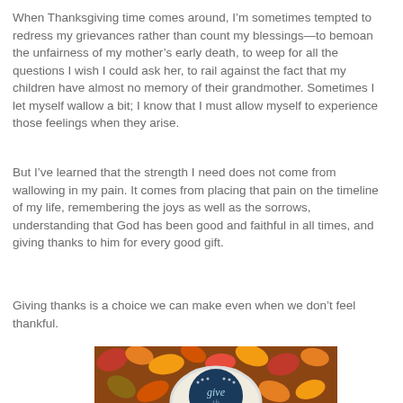When Thanksgiving time comes around, I'm sometimes tempted to redress my grievances rather than count my blessings—to bemoan the unfairness of my mother's early death, to weep for all the questions I wish I could ask her, to rail against the fact that my children have almost no memory of their grandmother. Sometimes I let myself wallow a bit; I know that I must allow myself to experience those feelings when they arise.
But I've learned that the strength I need does not come from wallowing in my pain. It comes from placing that pain on the timeline of my life, remembering the joys as well as the sorrows, understanding that God has been good and faithful in all times, and giving thanks to him for every good gift.
Giving thanks is a choice we can make even when we don't feel thankful.
[Figure (photo): A photo showing autumn leaves in orange, red, and yellow colors, with a white circular wreath or plate in the center, and a dark navy blue circle inscribed with cursive text reading 'give' and partially visible text below.]